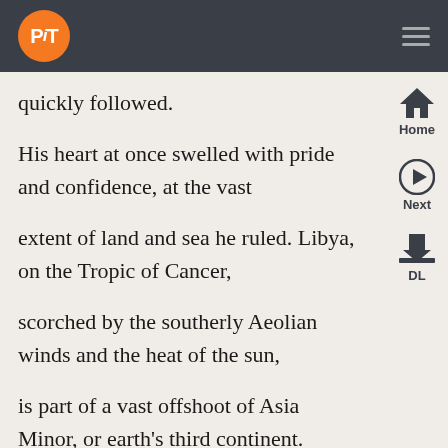PiT [logo] | hamburger menu
quickly followed.
His heart at once swelled with pride and confidence, at the vast
extent of land and sea he ruled. Libya, on the Tropic of Cancer,
scorched by the southerly Aeolian winds and the heat of the sun,
is part of a vast offshoot of Asia Minor, or earth's third continent.
Bounded, to the fiery east, by the Nile, which enters the swollen